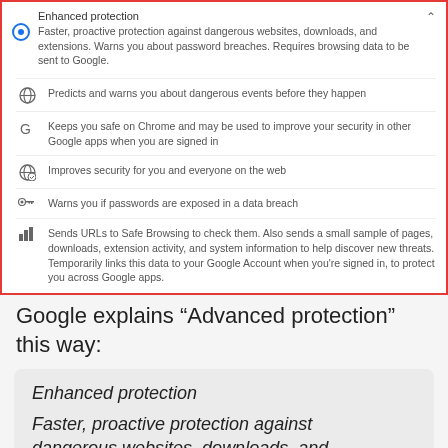[Figure (screenshot): Chrome Enhanced Protection settings panel with red border, radio button selected, showing feature list with icons]
Google explains “Advanced protection” this way:
Enhanced protection

Faster, proactive protection against dangerous websites, downloads, and